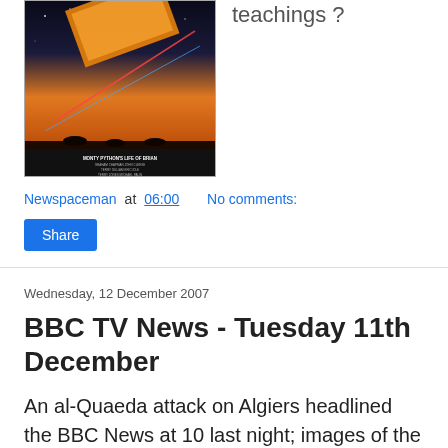[Figure (photo): Movie poster for Monty Python's Life of Brian, showing geometric shapes over a desert landscape with cast names listed below]
teachings ?
Newspaceman at 06:00   No comments:
Share
Wednesday, 12 December 2007
BBC TV News - Tuesday 11th December
An al-Quaeda attack on Algiers headlined the BBC News at 10 last night; images of the aftermath were in abundance as we heard of two bombings, one on a Nato building, the other on a Government office. It seems that native terrorists are to blame and that they